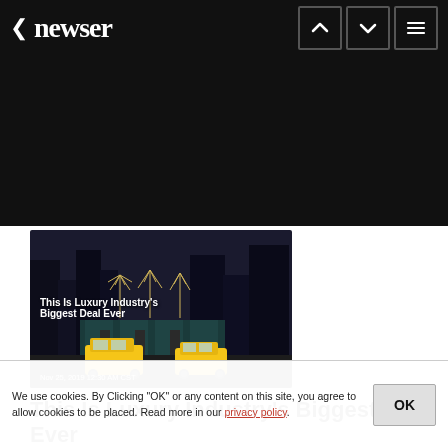< newser
[Figure (photo): Night city street scene with yellow taxis and decorated storefront with light arrangements. Overlaid text: 'This Is Luxury Industry's Biggest Deal Ever'. Date: Nov 25, 2019 12:30 AM CST]
This Is Luxury Industry's Biggest Deal Ever
Fre... $16. for...
We use cookies. By Clicking "OK" or any content on this site, you agree to allow cookies to be placed. Read more in our privacy policy.